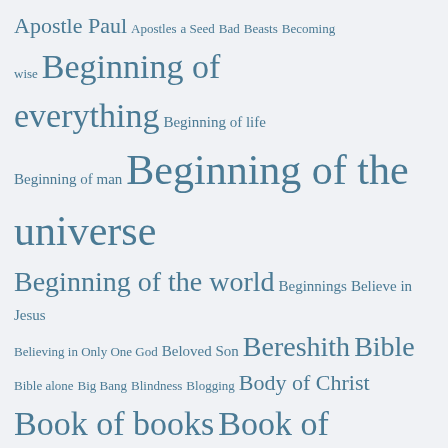[Figure (other): A tag cloud / word cloud featuring religious and theological terms in varying font sizes, all in a steel-blue color on a light gray background. Terms include: Apostle Paul, Apostles, a Seed, Bad, Beasts, Becoming wise, Beginning of everything, Beginning of life, Beginning of man, Beginning of the universe, Beginning of the world, Beginnings, Believe in Jesus, Believing in Only One God, Beloved Son, Bereshith, Bible, Bible alone, Big Bang, Blindness, Blogging, Body of Christ, Book of books, Book of Genesis, Breath of life, Cain, Carnal man, Chaos, Children of God, Christendom, Christian doctrine, Christianity, Christians, Constantine the Great, Cosmology, Creation, Creation myth, Creation myths, Creator Deity, Creator God, Curse of death, Damnation, Darkness, Day, Death, Devil, Disobedience to God, Divine, Creator, Divine Maker, Doctrine, Dogma, Dogmatic, Earth (partial)]